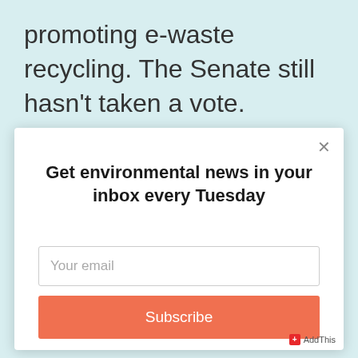promoting e-waste recycling. The Senate still hasn't taken a vote.
Get environmental news in your inbox every Tuesday
Your email
Subscribe
AddThis